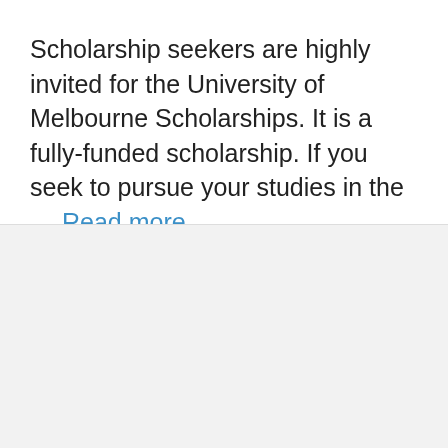Scholarship seekers are highly invited for the University of Melbourne Scholarships. It is a fully-funded scholarship. If you seek to pursue your studies in the … Read more